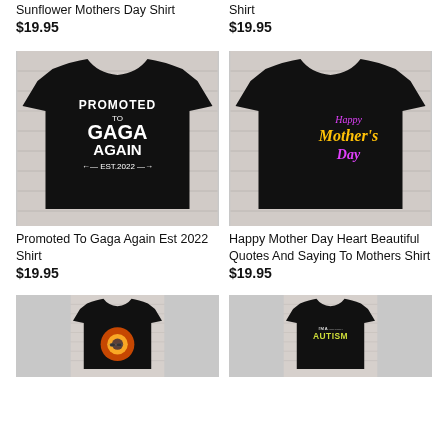Sunflower Mothers Day Shirt
$19.95
Shirt
$19.95
[Figure (photo): Black t-shirt with 'Promoted To Gaga Again Est 2022' text design on white wood background]
Promoted To Gaga Again Est 2022 Shirt
$19.95
[Figure (photo): Black t-shirt with 'Happy Mother's Day' colorful text design on white wood background]
Happy Mother Day Heart Beautiful Quotes And Saying To Mothers Shirt
$19.95
[Figure (photo): Partial view of black t-shirt with sunflower/retro design at bottom of page]
[Figure (photo): Partial view of black t-shirt with 'I'm A Autism' colorful text at bottom of page]